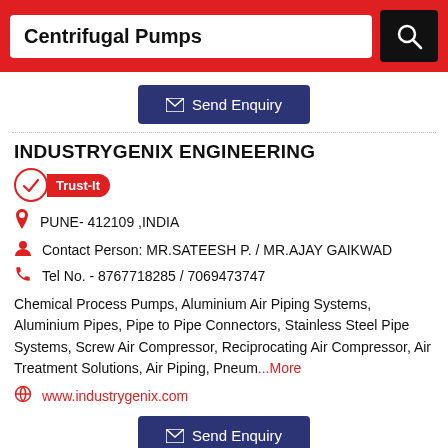Centrifugal Pumps
Send Enquiry
INDUSTRYGENIX ENGINEERING
Trust-It
PUNE- 412109 ,INDIA
Contact Person: MR.SATEESH P. / MR.AJAY GAIKWAD
Tel No. - 8767718285 / 7069473747
Chemical Process Pumps, Aluminium Air Piping Systems, Aluminium Pipes, Pipe to Pipe Connectors, Stainless Steel Pipe Systems, Screw Air Compressor, Reciprocating Air Compressor, Air Treatment Solutions, Air Piping, Pneum...More
www.industrygenix.com
Send Enquiry